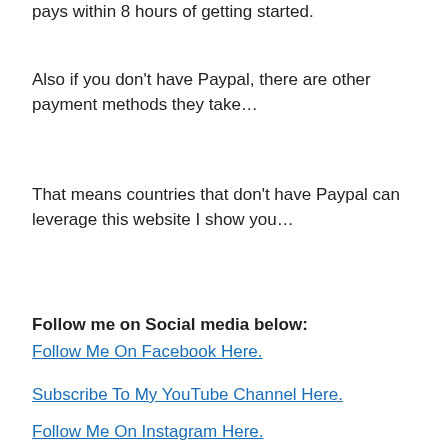pays within 8 hours of getting started.
Also if you don't have Paypal, there are other payment methods they take…
That means countries that don't have Paypal can leverage this website I show you…
Follow me on Social media below:
Follow Me On Facebook Here.
Subscribe To My YouTube Channel Here.
Follow Me On Instagram Here.